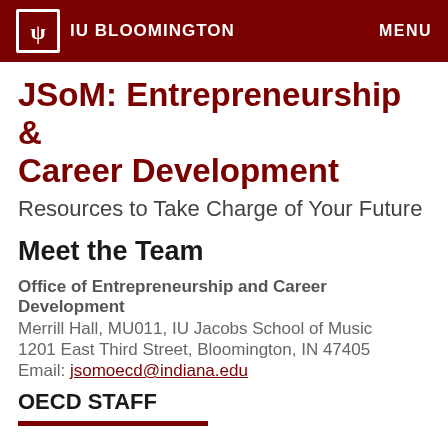IU BLOOMINGTON   MENU
JSoM: Entrepreneurship & Career Development
Resources to Take Charge of Your Future
Meet the Team
Office of Entrepreneurship and Career Development
Merrill Hall, MU011, IU Jacobs School of Music
1201 East Third Street, Bloomington, IN 47405
Email: jsomoecd@indiana.edu
OECD STAFF